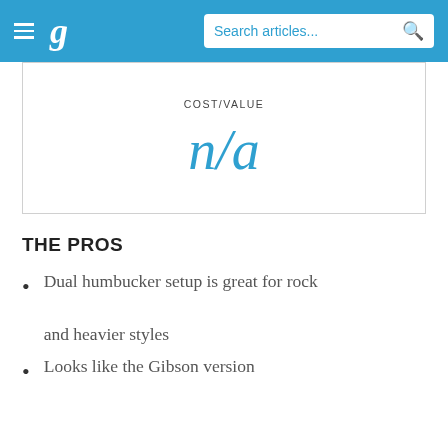g  Search articles...
COST/VALUE
n/a
THE PROS
Dual humbucker setup is great for rock and heavier styles
Looks like the Gibson version